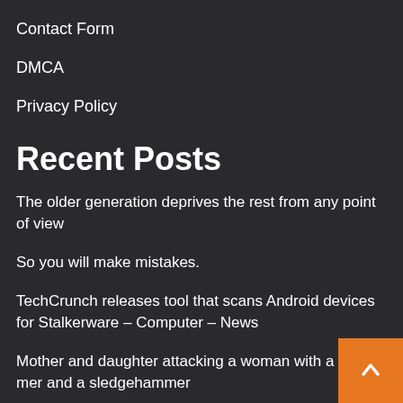Contact Form
DMCA
Privacy Policy
Recent Posts
The older generation deprives the rest from any point of view
So you will make mistakes.
TechCrunch releases tool that scans Android devices for Stalkerware – Computer – News
Mother and daughter attacking a woman with a hammer and a sledgehammer